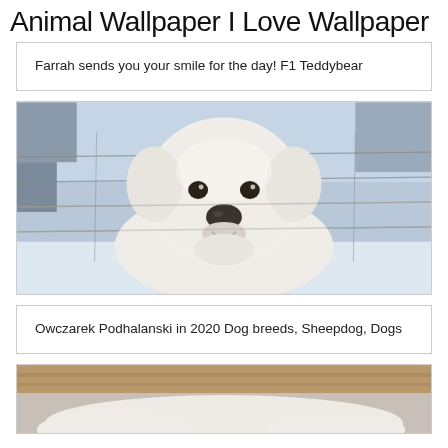Animal Wallpaper I Love Wallpaper
Farrah sends you your smile for the day! F1 Teddybear
[Figure (photo): A white fluffy dog (Owczarek Podhalanski / Great Pyrenees type) pressing its face through a wire fence, looking directly at the camera. Snowy/blurred background.]
Owczarek Podhalanski in 2020 Dog breeds, Sheepdog, Dogs
[Figure (photo): Partial view of a white fluffy dog near a wooden structure, bottom of page cropped.]